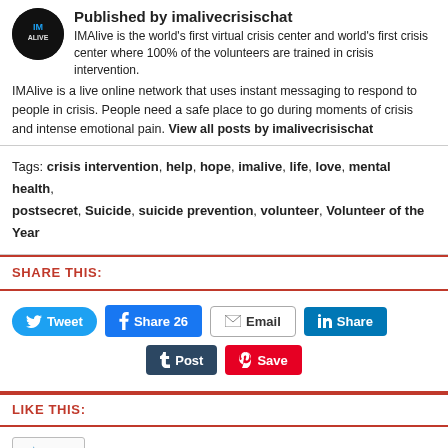Published by imalivecrisischat — IMAlive is the world's first virtual crisis center and world's first crisis center where 100% of the volunteers are trained in crisis intervention. IMAlive is a live online network that uses instant messaging to respond to people in crisis. People need a safe place to go during moments of crisis and intense emotional pain. View all posts by imalivecrisischat
Tags: crisis intervention, help, hope, imalive, life, love, mental health, postsecret, Suicide, suicide prevention, volunteer, Volunteer of the Year
SHARE THIS:
Tweet | Share 26 | Email | Share | Post | Save
LIKE THIS:
Like — Be the first to like this.